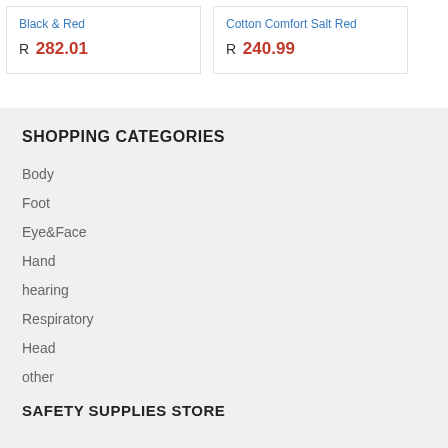Black & Red
R 282.01
Cotton Comfort Salt Red
R 240.99
SHOPPING CATEGORIES
Body
Foot
Eye&Face
Hand
hearing
Respiratory
Head
other
SAFETY SUPPLIES STORE